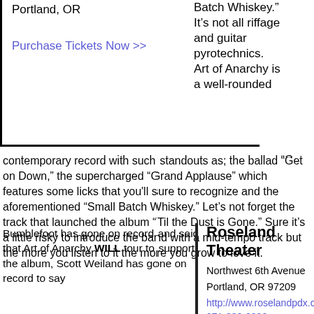Portland, OR
Purchase Tickets Now >>
Batch Whiskey." It’s not all riffage and guitar pyrotechnics. Art of Anarchy is a well-rounded contemporary record with such standouts as; the ballad "Get on Down," the supercharged “Grand Applause” which features some licks that you'll sure to recognize and the aforementioned “Small Batch Whiskey.” Let’s not forget the track that launched the album “Til the Dust is Gone.” Sure it’s a little risky to introduce the band with a mid-tempo track but the more you listen to it the more you grow to love it.
Bumblefoot has gone on record and said that Art of Anarchy WILL tour to support the album, Scott Weiland has gone on record to say
Roseland Theater
Northwest 6th Avenue
Portland, OR 97209
http://www.roselandpdx.com
971-330-0033